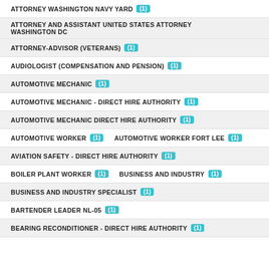ATTORNEY WASHINGTON NAVY YARD (1)
ATTORNEY AND ASSISTANT UNITED STATES ATTORNEY WASHINGTON DC
ATTORNEY-ADVISOR (VETERANS) (1)
AUDIOLOGIST (COMPENSATION AND PENSION) (1)
AUTOMOTIVE MECHANIC (1)
AUTOMOTIVE MECHANIC - DIRECT HIRE AUTHORITY (1)
AUTOMOTIVE MECHANIC DIRECT HIRE AUTHORITY (1)
AUTOMOTIVE WORKER (1)   AUTOMOTIVE WORKER FORT LEE (1)
AVIATION SAFETY - DIRECT HIRE AUTHORITY (1)
BOILER PLANT WORKER (1)   BUSINESS AND INDUSTRY (1)
BUSINESS AND INDUSTRY SPECIALIST (1)
BARTENDER LEADER NL-05 (1)
BEARING RECONDITIONER - DIRECT HIRE AUTHORITY (1)